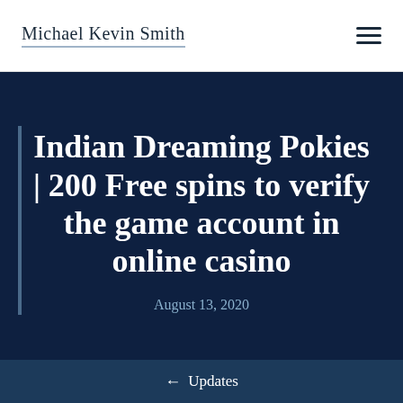Michael Kevin Smith
Indian Dreaming Pokies | 200 Free spins to verify the game account in online casino
August 13, 2020
← Updates